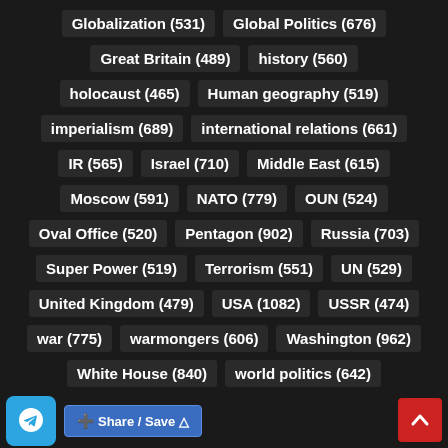Globalization (531)
Global Politics (676)
Great Britain (489)
history (560)
holocaust (465)
Human geography (519)
imperialism (689)
international relations (661)
IR (565)
Israel (710)
Middle East (615)
Moscow (591)
NATO (779)
OUN (524)
Oval Office (520)
Pentagon (902)
Russia (703)
Super Power (519)
Terrorism (551)
UN (529)
United Kingdom (479)
USA (1082)
USSR (474)
war (775)
warmongers (606)
Washington (962)
White House (840)
world politics (642)
Yugoslavia (700)
Zionists (530)